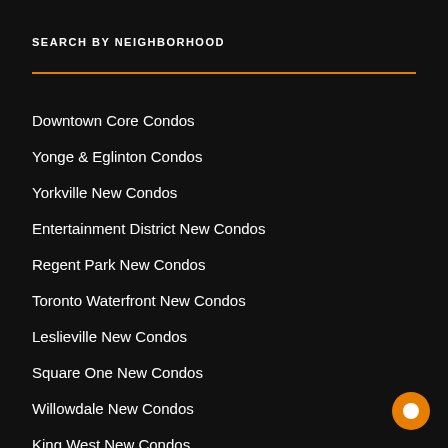SEARCH BY NEIGHBORHOOD
Downtown Core Condos
Yonge & Eglinton Condos
Yorkville New Condos
Entertainment District New Condos
Regent Park New Condos
Toronto Waterfront New Condos
Leslieville New Condos
Square One New Condos
Willowdale New Condos
King West New Condos
Humber Bay Park – Mimico New Condos